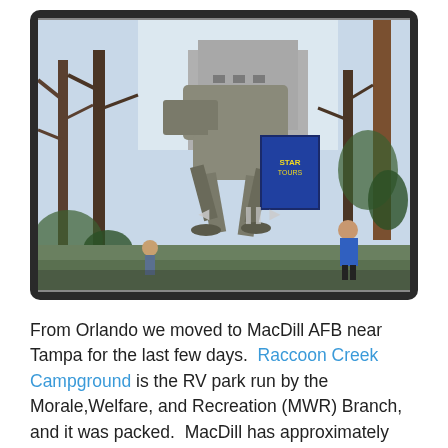[Figure (photo): Outdoor theme park or attraction scene showing a large AT-AT Walker replica from Star Wars, surrounded by bare trees, with people visible in the foreground and a movie poster billboard visible in the background.]
From Orlando we moved to MacDill AFB near Tampa for the last few days.  Raccoon Creek Campground is the RV park run by the Morale,Welfare, and Recreation (MWR) Branch, and it was packed.  MacDill has approximately 340 sites with full hookups that you can stay on for up to